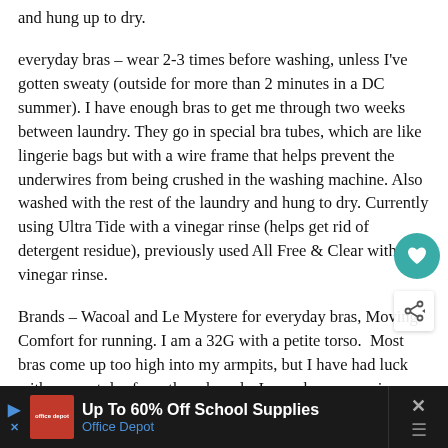and hung up to dry.
everyday bras – wear 2-3 times before washing, unless I've gotten sweaty (outside for more than 2 minutes in a DC summer). I have enough bras to get me through two weeks between laundry. They go in special bra tubes, which are like lingerie bags but with a wire frame that helps prevent the underwires from being crushed in the washing machine. Also washed with the rest of the laundry and hung to dry. Currently using Ultra Tide with a vinegar rinse (helps get rid of detergent residue), previously used All Free & Clear with a vinegar rinse.
Brands – Wacoal and Le Mystere for everyday bras, Moving Comfort for running. I am a 32G with a petite torso. Most bras come up too high into my armpits, but I have had luck with some styles from these brands. I even have some in colors (red, teal, lavender), as well as buff and black. In the 6 or so years that I've been this
[Figure (other): Advertisement banner: Up To 60% Off School Supplies – Office Depot, with logo and diamond icon]